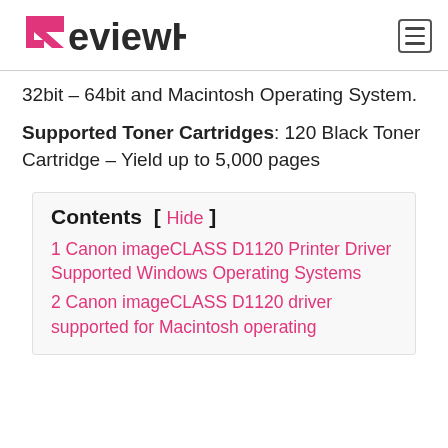ReviewHP
32bit – 64bit and Macintosh Operating System.
Supported Toner Cartridges: 120 Black Toner Cartridge – Yield up to 5,000 pages
Contents [ Hide ]
1 Canon imageCLASS D1120 Printer Driver Supported Windows Operating Systems
2 Canon imageCLASS D1120 driver supported for Macintosh operating